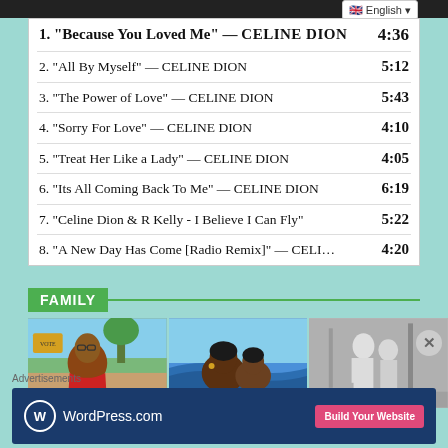1. “Because You Loved Me” — CELINE DION  4:36
2. “All By Myself” — CELINE DION  5:12
3. “The Power of Love” — CELINE DION  5:43
4. “Sorry For Love” — CELINE DION  4:10
5. “Treat Her Like a Lady” — CELINE DION  4:05
6. “Its All Coming Back To Me” — CELINE DION  6:19
7. “Celine Dion & R Kelly - I Believe I Can Fly”  5:22
8. “A New Day Has Come [Radio Remix]” — CELI…  4:20
FAMILY
[Figure (photo): Three photo thumbnails of people under FAMILY section header]
Advertisements
[Figure (screenshot): WordPress.com advertisement banner with Build Your Website button]